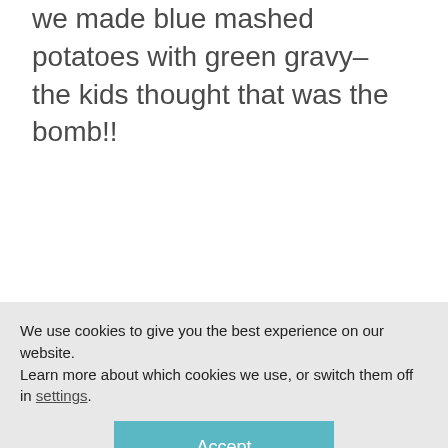we made blue mashed potatoes with green gravy–the kids thought that was the bomb!!
Reply
Andrea says
We use cookies to give you the best experience on our website.
Learn more about which cookies we use, or switch them off in settings.
Accept
making green eggs and ham for